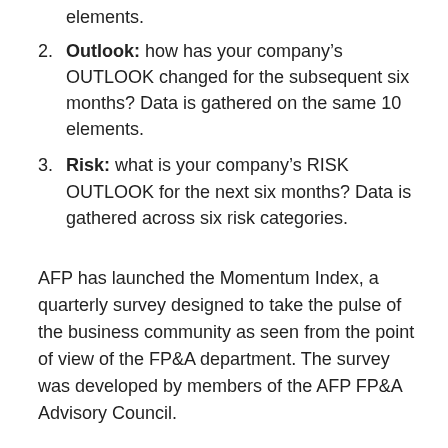elements.
Outlook: how has your company’s OUTLOOK changed for the subsequent six months? Data is gathered on the same 10 elements.
Risk: what is your company’s RISK OUTLOOK for the next six months? Data is gathered across six risk categories.
AFP has launched the Momentum Index, a quarterly survey designed to take the pulse of the business community as seen from the point of view of the FP&A department. The survey was developed by members of the AFP FP&A Advisory Council.
Reading the results: This is a momentum survey, where the resulting number indicates the direction